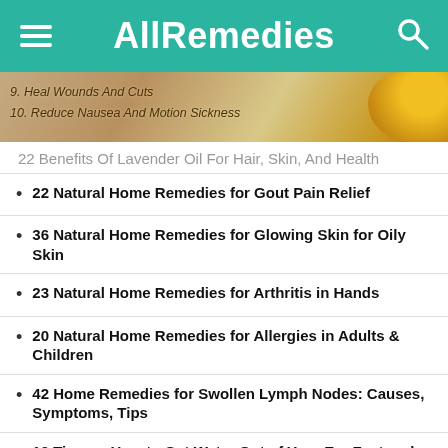AllRemedies
[Figure (photo): Banner image showing items with text overlay: '9. Heal Wounds And Cuts' and '10. Reduce Nausea And Motion Sickness']
22 Benefits Of Lavender Oil For Hair, Skin, And Health
22 Natural Home Remedies for Gout Pain Relief
36 Natural Home Remedies for Glowing Skin for Oily Skin
23 Natural Home Remedies for Arthritis in Hands
20 Natural Home Remedies for Allergies in Adults & Children
42 Home Remedies for Swollen Lymph Nodes: Causes, Symptoms, Tips
19 Tips on How to Get Water Out of Your Ear Fast and Easily
Foods High in Potassium – List of 21 Healthy Foods to Choose